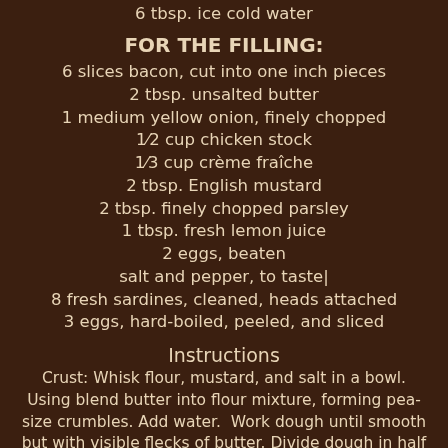6 tbsp. ice cold water
FOR THE FILLING:
6 slices bacon, cut into one inch pieces
2 tbsp. unsalted butter
1 medium yellow onion, finely chopped
1⁄2 cup chicken stock
1⁄3 cup crème fraîche
2 tbsp. English mustard
2 tbsp. finely chopped parsley
1 tbsp. fresh lemon juice
2 eggs, beaten
salt and pepper, to taste|
8 fresh sardines, cleaned, heads attached
3 eggs, hard-boiled, peeled, and sliced
Instructions
Crust: Whisk flour, mustard, and salt in a bowl. Using blend butter into flour mixture, forming pea-size crumbles. Add water.  Work dough until smooth but with visible flecks of butter. Divide dough in half and flatten into disks. Wrap disks in plastic wrap; chill 1 hour before using.
Filling: Heat bacon in a 4-qt. saucepan over medium-high